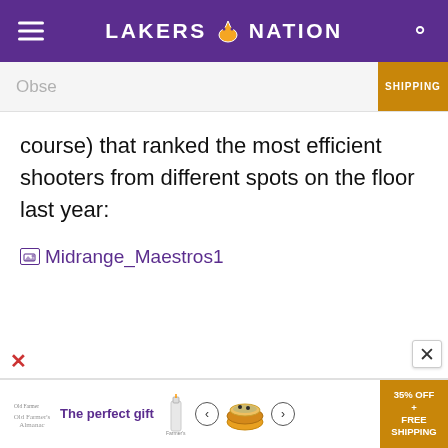LAKERS NATION
[Figure (screenshot): Partially visible advertisement strip with 'Obse' text and SHIPPING badge on the right]
course) that ranked the most efficient shooters from different spots on the floor last year:
[Figure (photo): Broken image placeholder with label: Midrange_Maestros1]
[Figure (screenshot): Bottom advertisement bar: 'The perfect gift' with product images, navigation arrows, and '35% OFF + FREE SHIPPING' badge in gold]